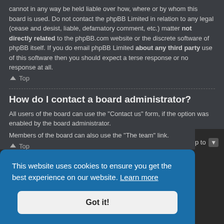cannot in any way be held liable over how, where or by whom this board is used. Do not contact the phpBB Limited in relation to any legal (cease and desist, liable, defamatory comment, etc.) matter not directly related to the phpBB.com website or the discrete software of phpBB itself. If you do email phpBB Limited about any third party use of this software then you should expect a terse response or no response at all.
▲ Top
How do I contact a board administrator?
All users of the board can use the "Contact us" form, if the option was enabled by the board administrator.
Members of the board can also use the "The team" link.
▲ Top
This website uses cookies to ensure you get the best experience on our website. Learn more
Got it!